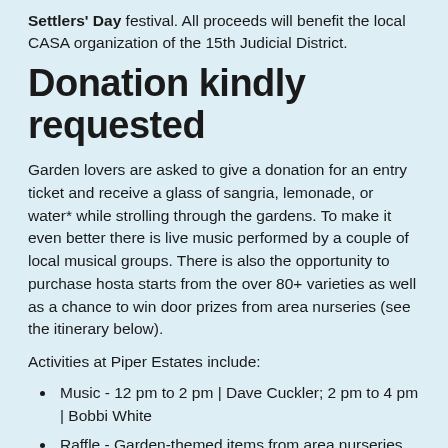Settlers' Day festival. All proceeds will benefit the local CASA organization of the 15th Judicial District.
Donation kindly requested
Garden lovers are asked to give a donation for an entry ticket and receive a glass of sangria, lemonade, or water* while strolling through the gardens. To make it even better there is live music performed by a couple of local musical groups. There is also the opportunity to purchase hosta starts from the over 80+ varieties as well as a chance to win door prizes from area nurseries (see the itinerary below).
Activities at Piper Estates include:
Music - 12 pm to 2 pm | Dave Cuckler; 2 pm to 4 pm | Bobbi White
Raffle - Garden-themed items from area nurseries and businesses